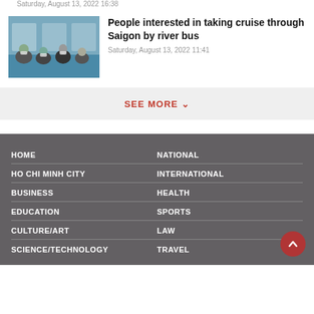Saturday, August 13, 2022 16:38
[Figure (photo): People sitting on a river bus, some wearing masks, viewed from inside the bus]
People interested in taking cruise through Saigon by river bus
Saturday, August 13, 2022 11:41
SEE MORE
HOME
NATIONAL
HO CHI MINH CITY
INTERNATIONAL
BUSINESS
HEALTH
EDUCATION
SPORTS
CULTURE/ART
LAW
SCIENCE/TECHNOLOGY
TRAVEL